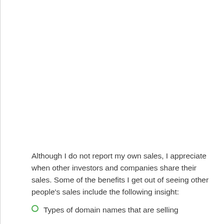Although I do not report my own sales, I appreciate when other investors and companies share their sales. Some of the benefits I get out of seeing other people's sales include the following insight:
Types of domain names that are selling